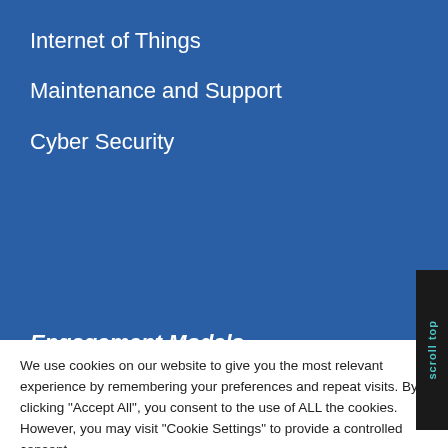Internet of Things
Maintenance and Support
Cyber Security
Engagement Models
We use cookies on our website to give you the most relevant experience by remembering your preferences and repeat visits. By clicking "Accept All", you consent to the use of ALL the cookies. However, you may visit "Cookie Settings" to provide a controlled consent.
Cookie Settings
Accept All